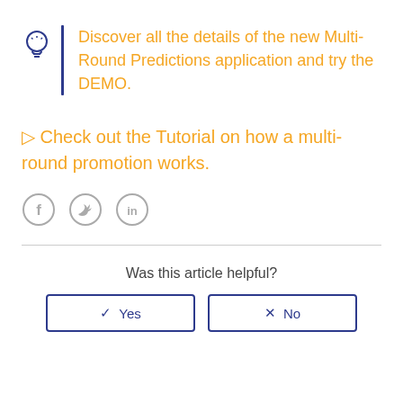Discover all the details of the new Multi-Round Predictions application and try the DEMO.
🔗 Check out the Tutorial on how a multi-round promotion works.
[Figure (other): Social sharing icons: Facebook, Twitter, LinkedIn in gray circles]
Was this article helpful?
✓ Yes
✕ No